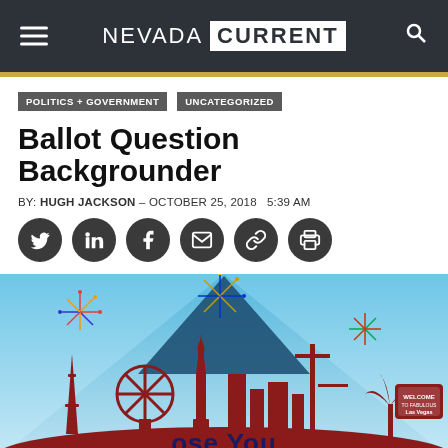NEVADA CURRENT
POLITICS + GOVERNMENT
UNCATEGORIZED
Ballot Question Backgrounder
BY: HUGH JACKSON – OCTOBER 25, 2018   5:39 AM
[Figure (illustration): Social media share icons: Twitter, LinkedIn, Facebook, Email, Link, Print — dark gray circular buttons]
[Figure (illustration): Colorful illustration of Las Vegas skyline with landmarks, fireworks, Statue of Liberty, Eiffel Tower and text reading 'ose You...' at bottom — partial view of a graphic about a ballot question]